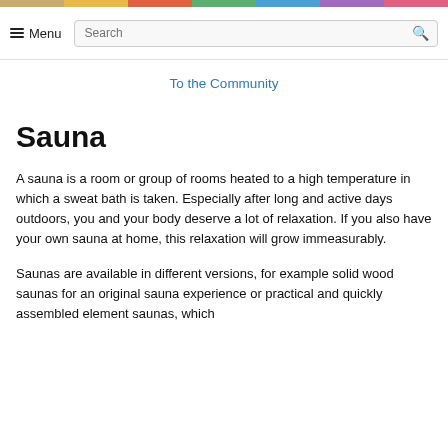Menu | Search
To the Community
Sauna
A sauna is a room or group of rooms heated to a high temperature in which a sweat bath is taken. Especially after long and active days outdoors, you and your body deserve a lot of relaxation. If you also have your own sauna at home, this relaxation will grow immeasurably.
Saunas are available in different versions, for example solid wood saunas for an original sauna experience or practical and quickly assembled element saunas, which